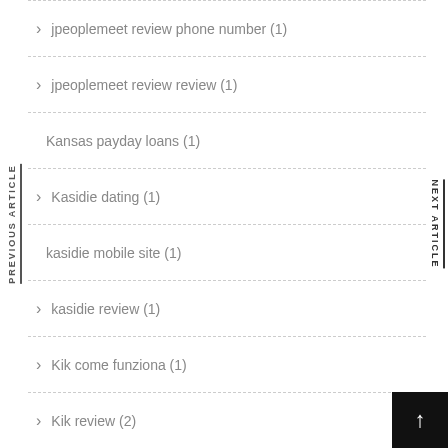jpeoplemeet review phone number (1)
jpeoplemeet review review (1)
Kansas payday loans (1)
Kasidie dating (1)
kasidie mobile site (1)
kasidie review (1)
Kik come funziona (1)
Kik review (2)